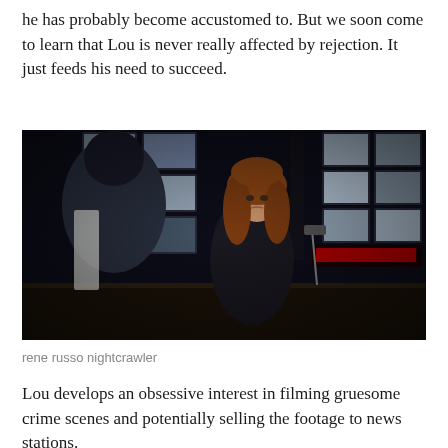he has probably become accustomed to. But we soon come to learn that Lou is never really affected by rejection. It just feeds his need to succeed.
[Figure (photo): Scene from the film Nightcrawler showing two characters in a dark TV broadcast control room with multiple screens in the background. A woman with auburn hair stands facing a man whose back is to the camera.]
rene russo nightcrawler
Lou develops an obsessive interest in filming gruesome crime scenes and potentially selling the footage to news stations.